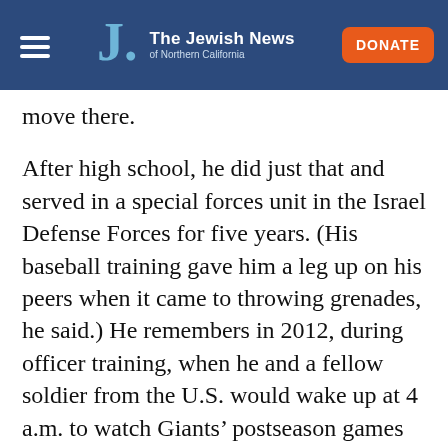The Jewish News of Northern California
move there.
After high school, he did just that and served in a special forces unit in the Israel Defense Forces for five years. (His baseball training gave him a leg up on his peers when it came to throwing grenades, he said.) He remembers in 2012, during officer training, when he and a fellow soldier from the U.S. would wake up at 4 a.m. to watch Giants’ postseason games on a “crappy TV” on their base.
Then they’d “participate in field exercises half asleep [and] fall asleep during classes, but it was all worth it.” The Giants swept the Detroit Tigers i